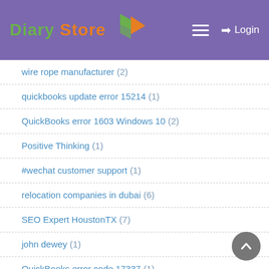Diary Store — Login
wire rope manufacturer (2)
quickbooks update error 15214 (1)
QuickBooks error 1603 Windows 10 (2)
Positive Thinking (1)
#wechat customer support (1)
relocation companies in dubai (6)
SEO Expert HoustonTX (7)
john dewey (1)
QuickBooks error code 17337 (1)
gift bags dubai (1)
Team Building Quotes (1)
QuickBooks 2018 Script Error (2)